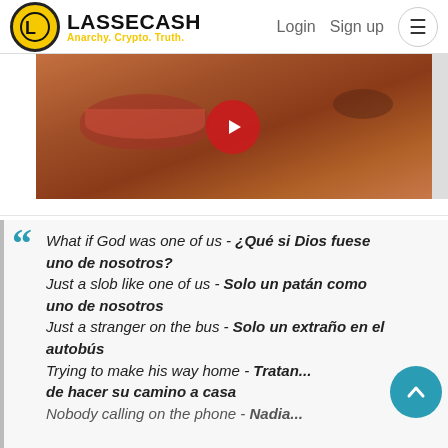LASSECASH - Anarchy. Crypto. Truth. | Login | Sign up
[Figure (photo): Video thumbnail showing a close-up of a face with a red YouTube play button overlay]
“What if God was one of us - ¿Qué si Dios fuese uno de nosotros?
Just a slob like one of us - Solo un patán como uno de nosotros
Just a stranger on the bus - Solo un extraño en el autobús
Trying to make his way home - Tratando de hacer su camino a casa
Nobody calling on the phone - Nadia...